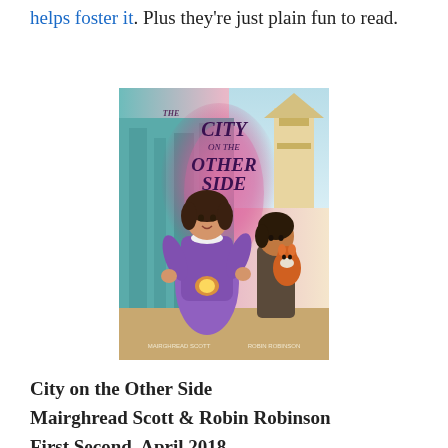helps foster it. Plus they're just plain fun to read.
[Figure (illustration): Book cover of 'The City on the Other Side' by Mairghread Scott and Robin Robinson, showing animated characters including a girl in a purple dress and a boy with a fox, set against a backdrop of buildings with a pink magical swirl.]
City on the Other Side
Mairghread Scott & Robin Robinson
First Second, April 2018
Isabel learns the strength of her convictions in this human world/fairy world adventure set in early 1900s San